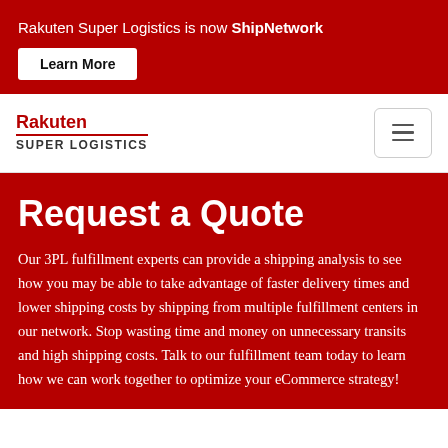Rakuten Super Logistics is now ShipNetwork
Learn More
[Figure (logo): Rakuten Super Logistics logo with red text and underline]
Request a Quote
Our 3PL fulfillment experts can provide a shipping analysis to see how you may be able to take advantage of faster delivery times and lower shipping costs by shipping from multiple fulfillment centers in our network. Stop wasting time and money on unnecessary transits and high shipping costs. Talk to our fulfillment team today to learn how we can work together to optimize your eCommerce strategy!